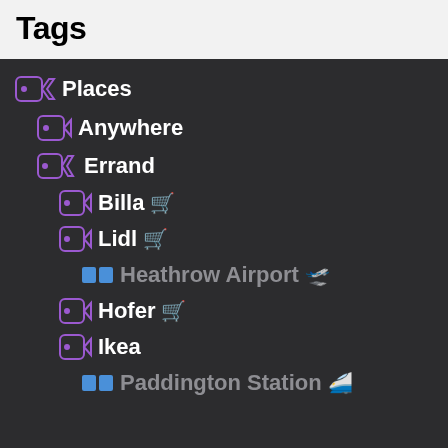Tags
Places
Anywhere
Errand
Billa 🛒
Lidl 🛒
Heathrow Airport 🛫
Hofer 🛒
Ikea
Paddington Station 🚅